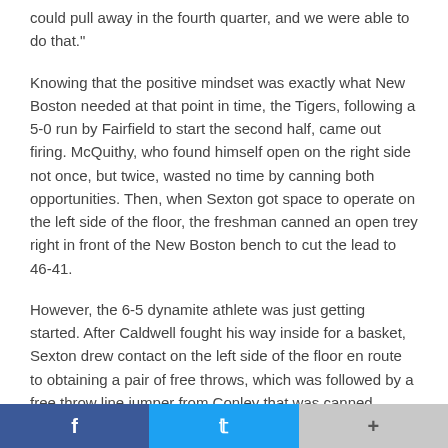could pull away in the fourth quarter, and we were able to do that."
Knowing that the positive mindset was exactly what New Boston needed at that point in time, the Tigers, following a 5-0 run by Fairfield to start the second half, came out firing. McQuithy, who found himself open on the right side not once, but twice, wasted no time by canning both opportunities. Then, when Sexton got space to operate on the left side of the floor, the freshman canned an open trey right in front of the New Boston bench to cut the lead to 46-41.
However, the 6-5 dynamite athlete was just getting started. After Caldwell fought his way inside for a basket, Sexton drew contact on the left side of the floor en route to obtaining a pair of free throws, which was followed by a free throw line jumper from Conley that was canned following a timeout. Sexton then completely took over matters to end the quarter as the freshman threw a nifty pass to a streaking Meade on the right
f  t  +